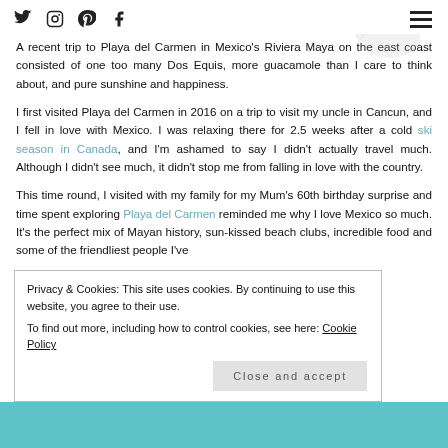Social icons (Twitter, Instagram, Pinterest, Facebook) and hamburger menu
A recent trip to Playa del Carmen in Mexico's Riviera Maya on the east coast consisted of one too many Dos Equis, more guacamole than I care to think about, and pure sunshine and happiness.
I first visited Playa del Carmen in 2016 on a trip to visit my uncle in Cancun, and I fell in love with Mexico. I was relaxing there for 2.5 weeks after a cold ski season in Canada, and I'm ashamed to say I didn't actually travel much. Although I didn't see much, it didn't stop me from falling in love with the country.
This time round, I visited with my family for my Mum's 60th birthday surprise and time spent exploring Playa del Carmen reminded me why I love Mexico so much. It's the perfect mix of Mayan history, sun-kissed beach clubs, incredible food and some of the friendliest people I've
Privacy & Cookies: This site uses cookies. By continuing to use this website, you agree to their use.
To find out more, including how to control cookies, see here: Cookie Policy
Close and accept